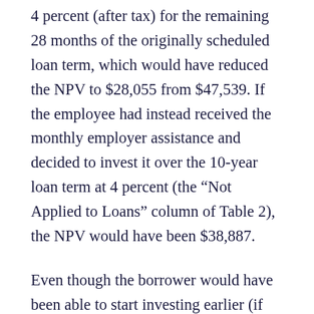4 percent (after tax) for the remaining 28 months of the originally scheduled loan term, which would have reduced the NPV to $28,055 from $47,539. If the employee had instead received the monthly employer assistance and decided to invest it over the 10-year loan term at 4 percent (the “Not Applied to Loans” column of Table 2), the NPV would have been $38,887.
Even though the borrower would have been able to start investing earlier (if given the option), using employer assistance to pay down the debt with a savings rate...